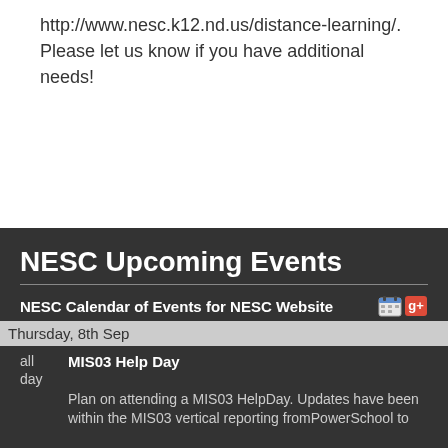http://www.nesc.k12.nd.us/distance-learning/. Please let us know if you have additional needs!
NESC Upcoming Events
NESC Calendar of Events for NESC Website
Thursday, 8th Sep
all day  MIS03 Help Day
Plan on attending a MIS03 HelpDay. Updates have been within the MIS03 vertical reporting fromPowerSchool to